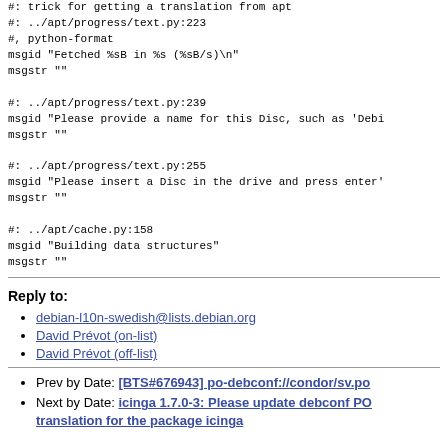#: trick for getting a translation from apt
#: ../apt/progress/text.py:223
#, python-format
msgid "Fetched %sB in %s (%sB/s)\n"
msgstr ""

#: ../apt/progress/text.py:239
msgid "Please provide a name for this Disc, such as 'Debi
msgstr ""

#: ../apt/progress/text.py:255
msgid "Please insert a Disc in the drive and press enter'
msgstr ""

#: ../apt/cache.py:158
msgid "Building data structures"
msgstr ""
Reply to:
debian-l10n-swedish@lists.debian.org
David Prévot (on-list)
David Prévot (off-list)
Prev by Date: [BTS#676943] po-debconf://condor/sv.po
Next by Date: icinga 1.7.0-3: Please update debconf PO translation for the package icinga